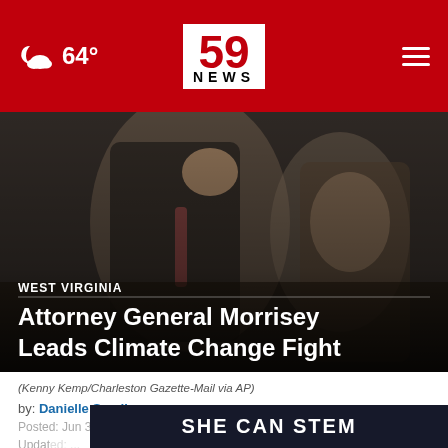64° | 59 NEWS
[Figure (photo): Blurred photo of person in suit with fist raised, in what appears to be a legislative chamber or courtroom setting]
WEST VIRGINIA
Attorney General Morrisey Leads Climate Change Fight
(Kenny Kemp/Charleston Gazette-Mail via AP)
by: Danielle Sandler
Posted: Jun 30, 2022 / 04:28 PM EDT
Updated: ...
SHE CAN STEM
SHARE